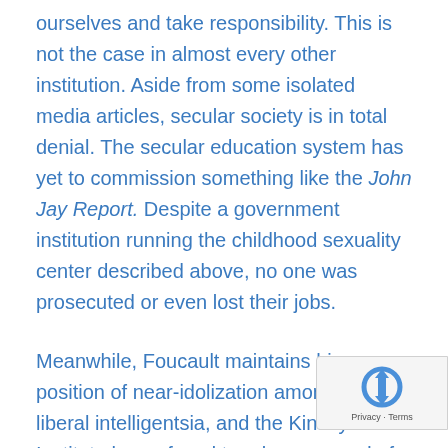ourselves and take responsibility. This is not the case in almost every other institution. Aside from some isolated media articles, secular society is in total denial. The secular education system has yet to commission something like the John Jay Report. Despite a government institution running the childhood sexuality center described above, no one was prosecuted or even lost their jobs.
Meanwhile, Foucault maintains his position of near-idolization among the liberal intelligentsia, and the Kinsey Institute has refused to release record of his research methods into childhood sexuality. These progressive abusers have gone on to become prominent and This led one abuse victim to declare in